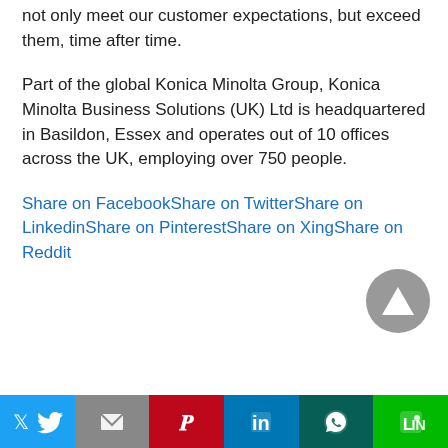not only meet our customer expectations, but exceed them, time after time.
Part of the global Konica Minolta Group, Konica Minolta Business Solutions (UK) Ltd is headquartered in Basildon, Essex and operates out of 10 offices across the UK, employing over 750 people.
Share on FacebookShare on TwitterShare on LinkedinShare on PinterestShare on XingShare on Reddit
[Figure (other): Scroll to top button — dark grey circle with upward triangle arrow]